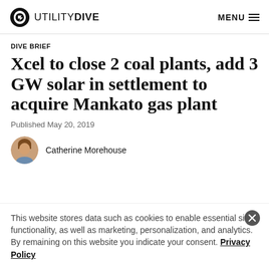UTILITY DIVE  MENU
DIVE BRIEF
Xcel to close 2 coal plants, add 3 GW solar in settlement to acquire Mankato gas plant
Published May 20, 2019
Catherine Morehouse
This website stores data such as cookies to enable essential site functionality, as well as marketing, personalization, and analytics. By remaining on this website you indicate your consent. Privacy Policy